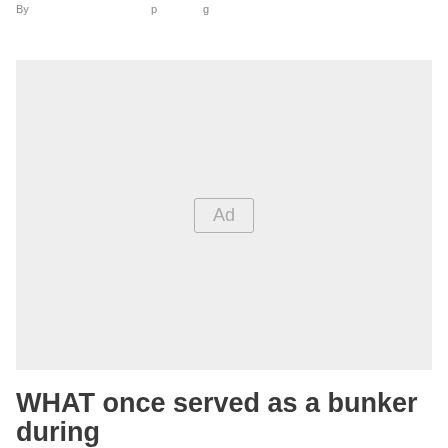By …  …posting…
[Figure (other): Advertisement placeholder box with 'Ad' label centered on a light gray background]
WHAT once served as a bunker during